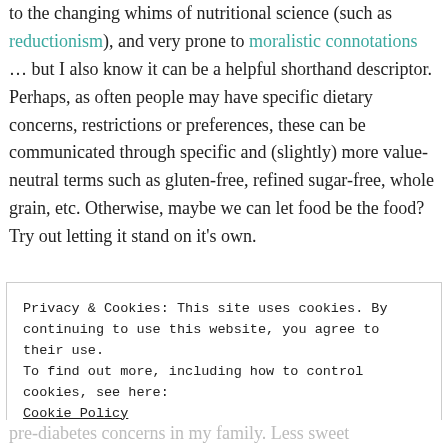to the changing whims of nutritional science (such as reductionism), and very prone to moralistic connotations … but I also know it can be a helpful shorthand descriptor. Perhaps, as often people may have specific dietary concerns, restrictions or preferences, these can be communicated through specific and (slightly) more value-neutral terms such as gluten-free, refined sugar-free, whole grain, etc. Otherwise, maybe we can let food be the food? Try out letting it stand on it's own.
Privacy & Cookies: This site uses cookies. By continuing to use this website, you agree to their use.
To find out more, including how to control cookies, see here: Cookie Policy
Close and accept
pre-diabetes concerns in my family. Less sweet